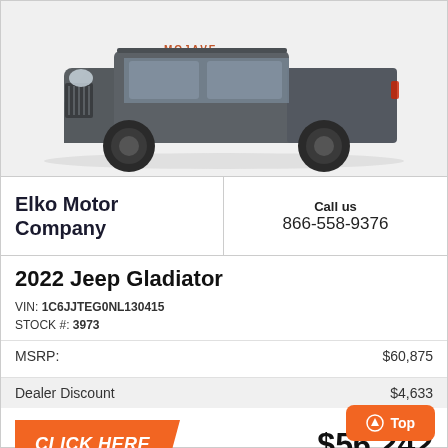[Figure (photo): Gray 2022 Jeep Gladiator Mojave pickup truck, side profile view on white background]
Elko Motor Company
Call us
866-558-9376
2022 Jeep Gladiator
VIN: 1C6JJTEG0NL130415
STOCK #: 3973
MSRP:    $60,875
Dealer Discount    $4,633
CLICK HERE
$56,242